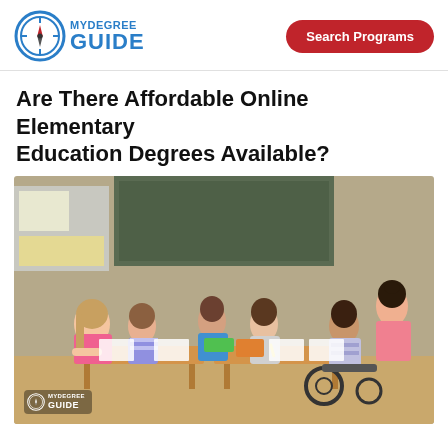[Figure (logo): MyDegree Guide logo with compass icon and blue text]
[Figure (other): Red pill-shaped Search Programs button]
Are There Affordable Online Elementary Education Degrees Available?
[Figure (photo): Photo of elementary school classroom with children working at desks and a teacher assisting them. One child is in a wheelchair. A green chalkboard is visible in the background. MyDegree Guide watermark in bottom left.]